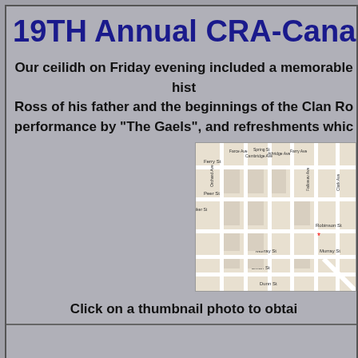19TH Annual CRA-Cana
Our ceilidh on Friday evening included a memorable hist... Ross of his father and the beginnings of the Clan Ro... performance by "The Gaels", and refreshments whic...
[Figure (map): Street map showing Murray St, Dixon St, Dunn St, Orchard Ave, Robinson St, Clark Ave, Stanley Ave, Fallowav Ave area with a red star marker]
Click on a thumbnail photo to obtai
ENTERTAINME